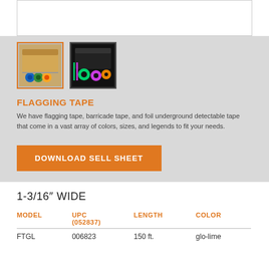[Figure (photo): Two product thumbnail images of flagging tape boxes with rolls of tape]
FLAGGING TAPE
We have flagging tape, barricade tape, and foil underground detectable tape that come in a vast array of colors, sizes, and legends to fit your needs.
DOWNLOAD SELL SHEET
1-3/16″ WIDE
| MODEL | UPC (052837) | LENGTH | COLOR |
| --- | --- | --- | --- |
| FTGL | 006823 | 150 ft. | glo-lime |